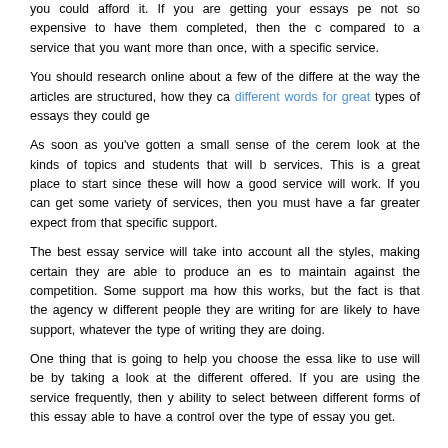you could afford it. If you are getting your essays pe not so expensive to have them completed, then the c compared to a service that you want more than once, with a specific service.
You should research online about a few of the differe at the way the articles are structured, how they ca different words for great types of essays they could ge
As soon as you've gotten a small sense of the cerem look at the kinds of topics and students that will b services. This is a great place to start since these will how a good service will work. If you can get some variety of services, then you must have a far greater expect from that specific support.
The best essay service will take into account all the styles, making certain they are able to produce an es to maintain against the competition. Some support ma how this works, but the fact is that the agency w different people they are writing for are likely to have support, whatever the type of writing they are doing.
One thing that is going to help you choose the essa like to use will be by taking a look at the different offered. If you are using the service frequently, then y ability to select between different forms of this essay able to have a control over the type of essay you get.